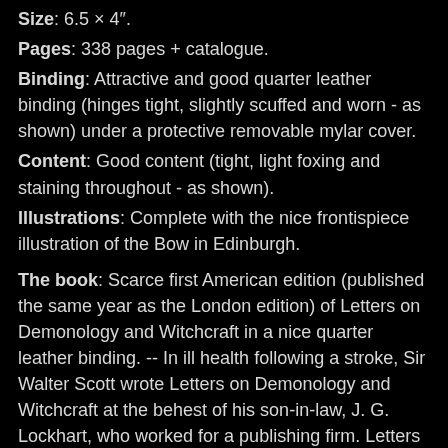Size: 6.5 × 4″.
Pages: 338 pages + catalogue.
Binding: Attractive and good quarter leather binding (hinges tight, slightly scuffed and worn - as shown) under a protective removable mylar cover.
Content: Good content (tight, light foxing and staining throughout - as shown).
Illustrations: Complete with the nice frontispiece illustration of the Bow in Edinburgh.
The book: Scarce first American edition (published the same year as the London edition) of Letters on Demonology and Witchcraft in a nice quarter leather binding. -- In ill health following a stroke, Sir Walter Scott wrote Letters on Demonology and Witchcraft at the behest of his son-in-law, J. G. Lockhart, who worked for a publishing firm. Letters was written when educated society believed itself in enlightened times, but were becoming increasingly...